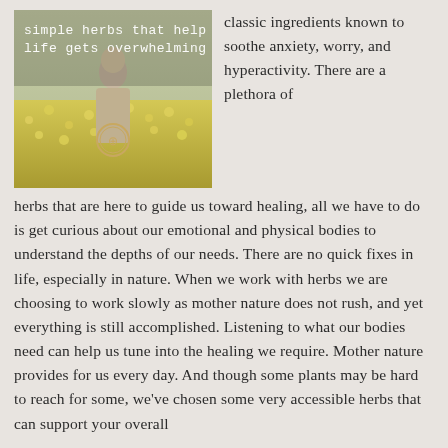[Figure (photo): Photo of a person standing in a field of yellow flowers, with overlay text reading 'simple herbs that help life gets overwhelming' and a circular logo emblem]
classic ingredients known to soothe anxiety, worry, and hyperactivity. There are a plethora of herbs that are here to guide us toward healing, all we have to do is get curious about our emotional and physical bodies to understand the depths of our needs. There are no quick fixes in life, especially in nature. When we work with herbs we are choosing to work slowly as mother nature does not rush, and yet everything is still accomplished. Listening to what our bodies need can help us tune into the healing we require. Mother nature provides for us every day. And though some plants may be hard to reach for some, we've chosen some very accessible herbs that can support your overall